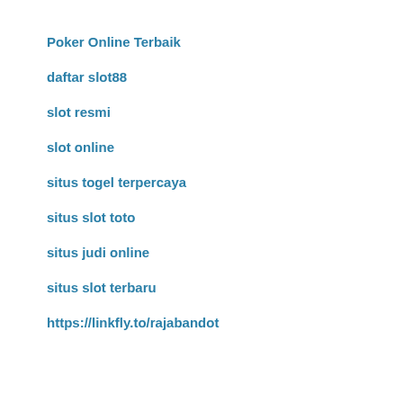Poker Online Terbaik
daftar slot88
slot resmi
slot online
situs togel terpercaya
situs slot toto
situs judi online
situs slot terbaru
https://linkfly.to/rajabandot